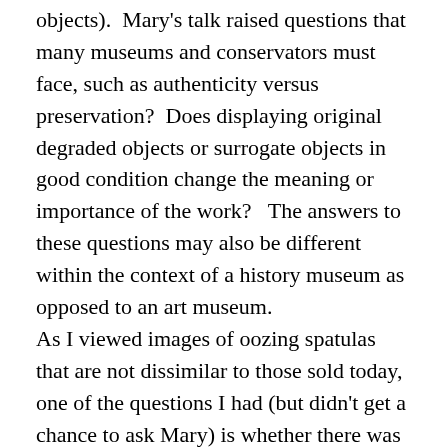objects).  Mary's talk raised questions that many museums and conservators must face, such as authenticity versus preservation?  Does displaying original degraded objects or surrogate objects in good condition change the meaning or importance of the work?   The answers to these questions may also be different within the context of a history museum as opposed to an art museum. As I viewed images of oozing spatulas that are not dissimilar to those sold today, one of the questions I had (but didn't get a chance to ask Mary) is whether there was any discussion with the curators about purchasing surrogate objects either to be displayed now or in the future?  Maybe similar objects could be